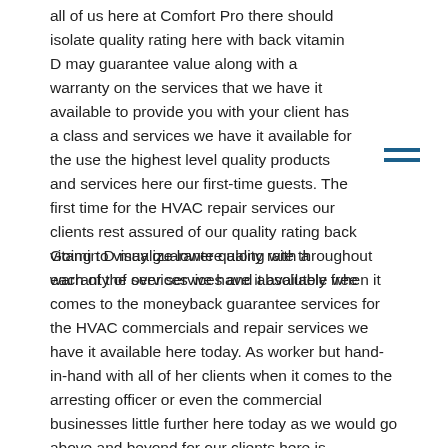all of us here at Comfort Pro there should isolate quality rating here with back vitamin D may guarantee value along with a warranty on the services that we have it available to provide you with your client has a class and services we have it available for the use the highest level quality products and services here our first-time guests. The first time for the HVAC repair services our clients rest assured of our quality rating back vitamin D may guarantee along with a warranty of over services and absolutely free
Going to visualize lower quality rate throughout each of the services we have it available when it comes to the moneyback guarantee services for the HVAC commercials and repair services we have it available here today. As worker but hand-in-hand with all of her clients when it comes to the arresting officer or even the commercial businesses little further here today as we would go above and beyond for our clients here is